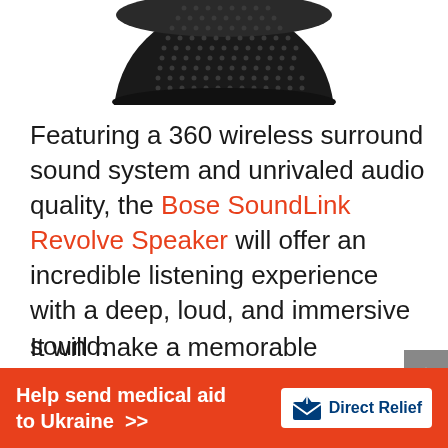[Figure (photo): Top portion of a black Bose SoundLink Revolve Bluetooth speaker, showing the perforated grille and rounded top.]
Featuring a 360 wireless surround sound system and unrivaled audio quality, the Bose SoundLink Revolve Speaker will offer an incredible listening experience with a deep, loud, and immersive sound.
It will make a memorable Valentine's Day gift for someone who loves to listen to music and want something small without compromising the quality of sound.
[Figure (infographic): Orange advertisement banner: 'Help send medical aid to Ukraine >>' with Direct Relief logo on the right.]